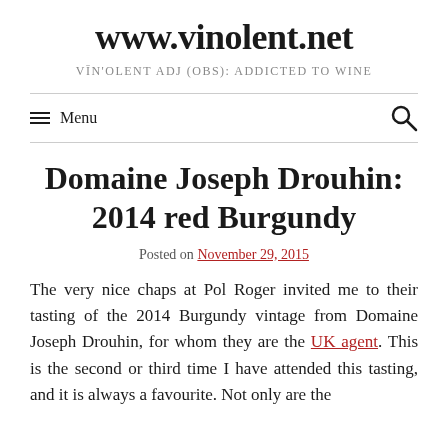www.vinolent.net
VĪN'OLENT ADJ (OBS): ADDICTED TO WINE
≡ Menu
Domaine Joseph Drouhin: 2014 red Burgundy
Posted on November 29, 2015
The very nice chaps at Pol Roger invited me to their tasting of the 2014 Burgundy vintage from Domaine Joseph Drouhin, for whom they are the UK agent. This is the second or third time I have attended this tasting, and it is always a favourite. Not only are the wines presented by the always impressive Véronique